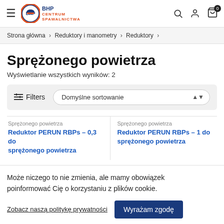BHP Centrum Spawalnictwa — navigation header with hamburger menu, logo, search, account, and cart icons
Strona główna > Reduktory i manometry > Reduktory >
Sprężonego powietrza
Wyświetlanie wszystkich wyników: 2
Filters   Domyślne sortowanie
Sprężonego powietrza — Reduktor PERUN RBPs – 0,3 do sprężonego powietrza
Sprężonego powietrza — Reduktor PERUN RBPs – 1 do sprężonego powietrza
Może niczego to nie zmienia, ale mamy obowiązek poinformować Cię o korzystaniu z plików cookie.
Zobacz naszą politykę prywatności
Wyrażam zgodę